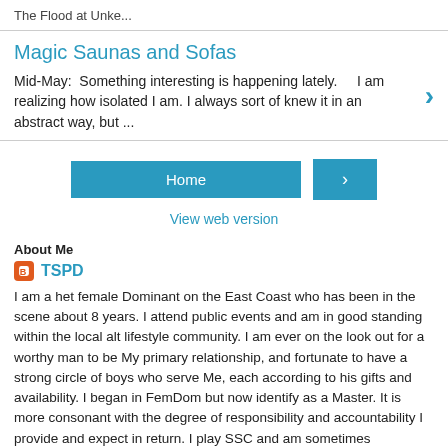The Flood at Unke...
Magic Saunas and Sofas
Mid-May:  Something interesting is happening lately.    I am realizing how isolated I am. I always sort of knew it in an abstract way, but ...
Home
View web version
About Me
TSPD
I am a het female Dominant on the East Coast who has been in the scene about 8 years. I attend public events and am in good standing within the local alt lifestyle community. I am ever on the look out for a worthy man to be My primary relationship, and fortunate to have a strong circle of boys who serve Me, each according to his gifts and availability. I began in FemDom but now identify as a Master. It is more consonant with the degree of responsibility and accountability I provide and expect in return. I play SSC and am sometimes